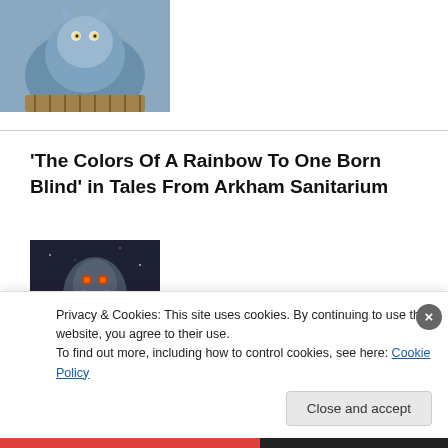[Figure (photo): Partial image of a blue cat or creature in a basket, cropped at top.]
'The Colors Of A Rainbow To One Born Blind' in Tales From Arkham Sanitarium
[Figure (photo): Book cover for 'Tales From Arkham Sanitarium' featuring a dark Cthulhu-like creature with tentacles over a gothic building, with text 'ARKHAM SANITARIUM' prominently displayed.]
Privacy & Cookies: This site uses cookies. By continuing to use this website, you agree to their use.
To find out more, including how to control cookies, see here: Cookie Policy